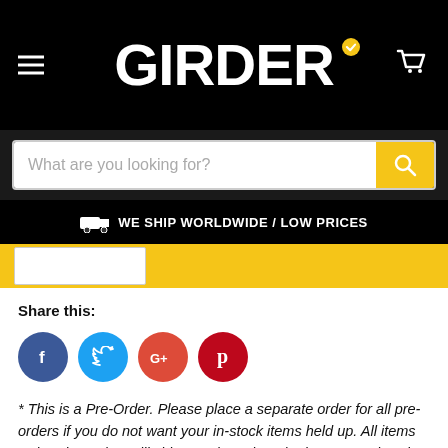GIRDER
What are you looking for?
WE SHIP WORLDWIDE / LOW PRICES
Share this:
[Figure (other): Social media share icons: Facebook (blue circle with f), Twitter (light blue circle with bird), Google+ (red circle with G+), Pinterest (dark red circle with P)]
* This is a Pre-Order. Please place a separate order for all pre-orders if you do not want your in-stock items held up.  All items ordered together will ship together when the last one arrives in-stock. All pre-order are non-refundable. No exceptions.